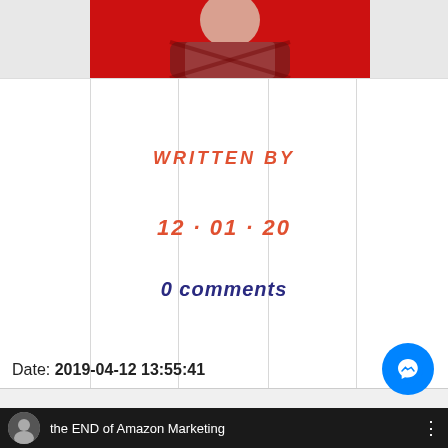[Figure (photo): Partial photo of a person wearing a red plaid shirt and white t-shirt with headphones, shown from chest up against a red background]
WRITTEN BY
12 · 01 · 20
0 comments
Date: 2019-04-12 13:55:41
[Figure (screenshot): Bottom bar showing a YouTube-style video thumbnail with avatar circle, title 'the END of Amazon Marketing', and three-dot menu icon on dark background]